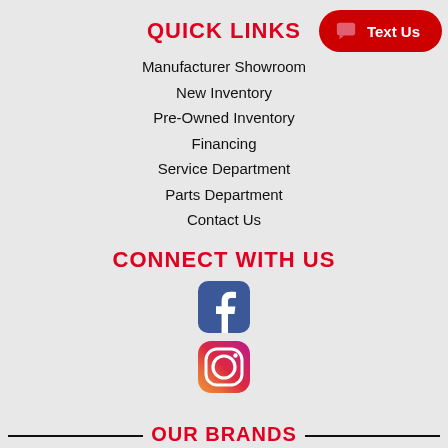QUICK LINKS
Manufacturer Showroom
New Inventory
Pre-Owned Inventory
Financing
Service Department
Parts Department
Contact Us
CONNECT WITH US
[Figure (logo): Facebook logo icon — blue rounded square with white lowercase f]
[Figure (logo): Instagram logo icon — white camera outline with gradient purple/orange circle border]
OUR BRANDS
[Figure (other): Text Us button — red pill-shaped button with chat icon and white text 'Text Us']